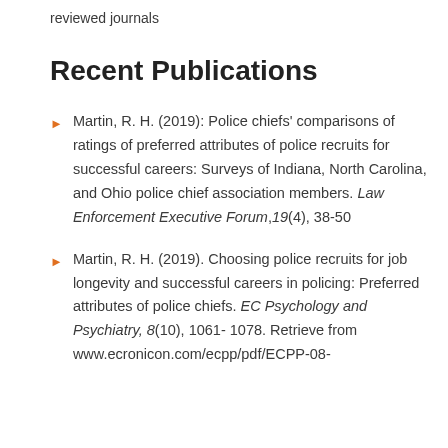reviewed journals
Recent Publications
Martin, R. H. (2019): Police chiefs' comparisons of ratings of preferred attributes of police recruits for successful careers: Surveys of Indiana, North Carolina, and Ohio police chief association members. Law Enforcement Executive Forum,19(4), 38-50
Martin, R. H. (2019). Choosing police recruits for job longevity and successful careers in policing: Preferred attributes of police chiefs. EC Psychology and Psychiatry, 8(10), 1061-1078. Retrieve from www.ecronicon.com/ecpp/pdf/ECPP-08-